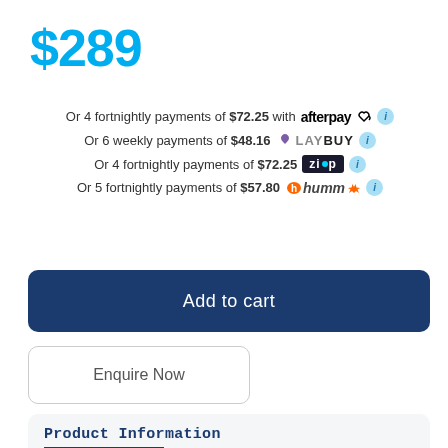$289
Or 4 fortnightly payments of $72.25 with afterpay
Or 6 weekly payments of $48.16 LAYBUY
Or 4 fortnightly payments of $72.25 zip
Or 5 fortnightly payments of $57.80 humm
Add to cart
Enquire Now
Product Information